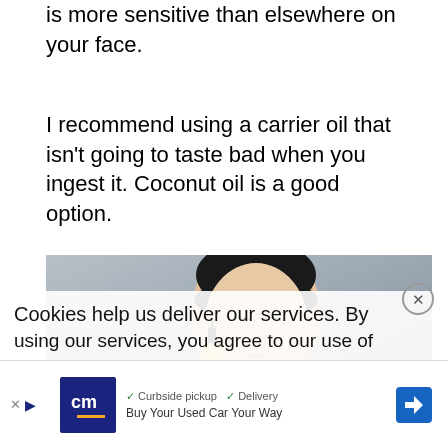is more sensitive than elsewhere on your face.
I recommend using a carrier oil that isn't going to taste bad when you ingest it. Coconut oil is a good option.
[Figure (photo): A woman with dark hair pulled back, eyes closed, holding a small glass dropper bottle of yellow oil near her cheek. The background is a muted blue-grey. The image suggests skin care and essential oil application.]
Cookies help us deliver our services. By using our services, you agree to our use of
✓ Curbside pickup  ✓ Delivery
Buy Your Used Car Your Way